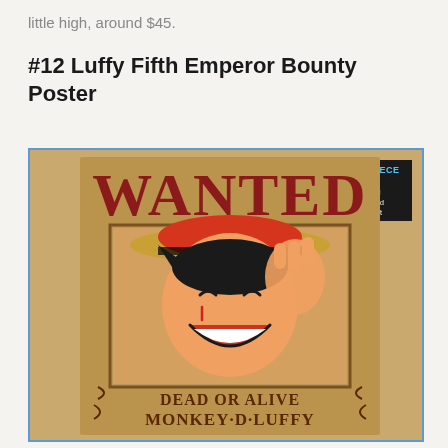little high, around $45.
#12 Luffy Fifth Emperor Bounty Poster
[Figure (photo): A One Piece 'WANTED' bounty poster featuring Monkey D. Luffy. The poster shows Luffy smiling and holding up fingers, wearing his signature straw hat. Text reads 'WANTED', 'DEAD OR ALIVE', 'MONKEY D. LUFFY'. The image includes a watermark reading 'ONEPIECE.STORE' vertically on the left side and an 'Official Licensed Product' badge in the top right corner with the One Piece logo.]